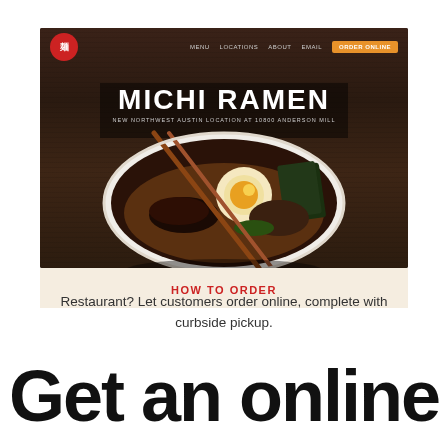[Figure (screenshot): Screenshot of Michi Ramen restaurant website showing dark wood-grain background with navigation bar (Menu, Locations, About, Email, Order Online button), large hero text 'MICHI RAMEN' with subtitle 'NEW NORTHWEST AUSTIN LOCATION AT 10800 ANDERSON MILL', and a bowl of ramen with chopsticks in the foreground. Below the hero image is a cream-colored section with red text 'HOW TO ORDER'.]
Restaurant? Let customers order online, complete with curbside pickup.
Get an online